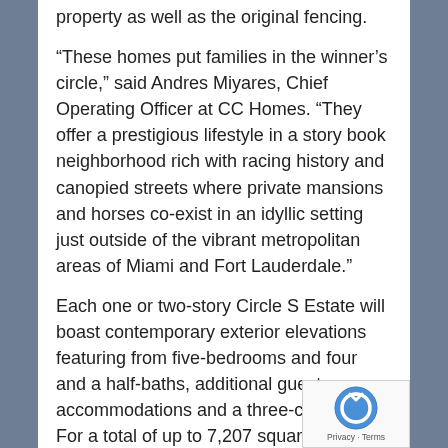property as well as the original fencing.
“These homes put families in the winner’s circle,” said Andres Miyares, Chief Operating Officer at CC Homes. “They offer a prestigious lifestyle in a story book neighborhood rich with racing history and canopied streets where private mansions and horses co-exist in an idyllic setting just outside of the vibrant metropolitan areas of Miami and Fort Lauderdale.”
Each one or two-story Circle S Estate will boast contemporary exterior elevations featuring from five-bedrooms and four and a half-baths, additional guest accommodations and a three-car garage. For a total of up to 7,207 square feet of space, Circle S Estates offer